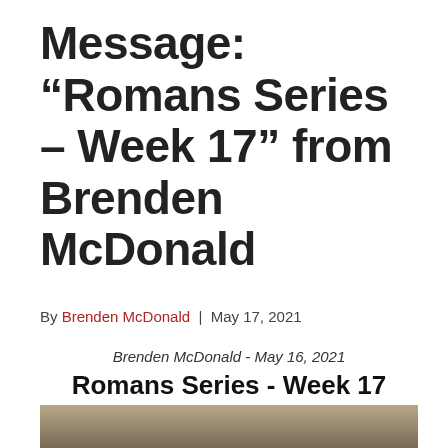Message: “Romans Series – Week 17” from Brenden McDonald
By Brenden McDonald | May 17, 2021
Brenden McDonald - May 16, 2021
Romans Series - Week 17
[Figure (photo): Thumbnail image showing a textured tan/brown surface, likely a background image for the Romans Series Week 17 sermon.]